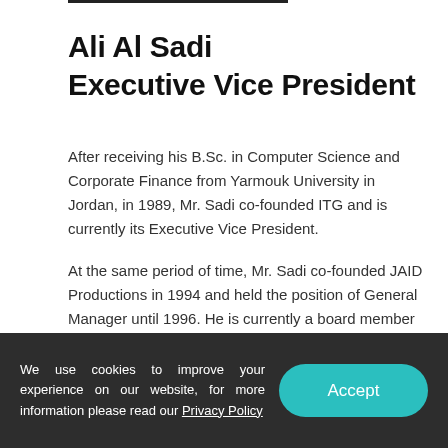Ali Al Sadi
Executive Vice President
After receiving his B.Sc. in Computer Science and Corporate Finance from Yarmouk University in Jordan, in 1989, Mr. Sadi co-founded ITG and is currently its Executive Vice President.
At the same period of time, Mr. Sadi co-founded JAID Productions in 1994 and held the position of General Manager until 1996. He is currently a board member of the company. Additionally, Mr. Sadi co-founded and is a
We use cookies to improve your experience on our website, for more information please read our Privacy Policy